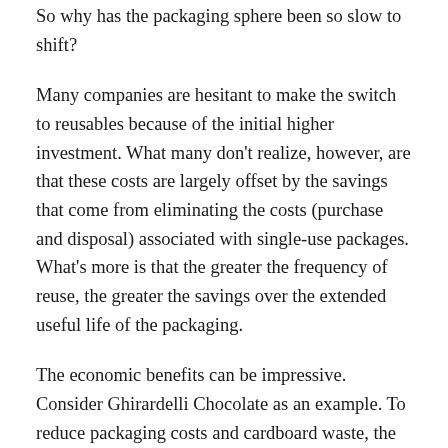So why has the packaging sphere been so slow to shift?
Many companies are hesitant to make the switch to reusables because of the initial higher investment. What many don't realize, however, are that these costs are largely offset by the savings that come from eliminating the costs (purchase and disposal) associated with single-use packages. What's more is that the greater the frequency of reuse, the greater the savings over the extended useful life of the packaging.
The economic benefits can be impressive. Consider Ghirardelli Chocolate as an example. To reduce packaging costs and cardboard waste, the company switched to reusable totes for internal distribution in 2003. Based on a five-year life of the totes, the company realized net savings of $1.9 million, and prevented 350 tons per year of soiled cardboard going to landfill, resulting in additional savings from avoided disposal